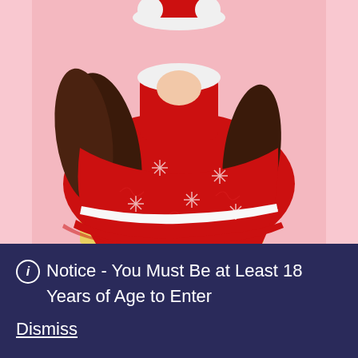[Figure (photo): A person viewed from behind wearing a red Christmas dress with white snowflake patterns, white ribbon trim at the hem, white fur trim at the top, and a red Santa-style hat with white pom-poms. The person has dark brown wavy hair. The background is pink.]
ℹ Notice - You Must Be at Least 18 Years of Age to Enter
Dismiss